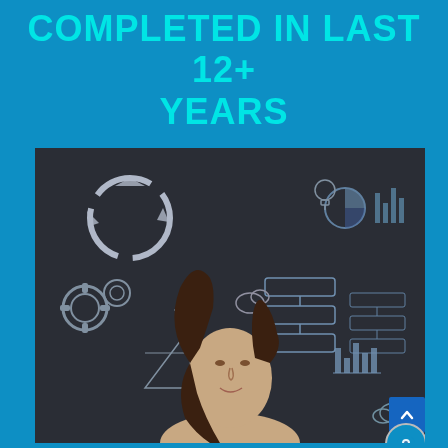COMPLETED IN LAST 12+ YEARS
[Figure (photo): Woman looking upward at a dark chalkboard filled with business and technology diagrams including gears, circular arrows, flowcharts, charts, and icons.]